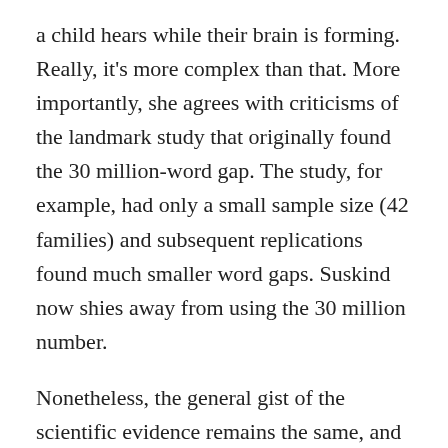a child hears while their brain is forming. Really, it's more complex than that. More importantly, she agrees with criticisms of the landmark study that originally found the 30 million-word gap. The study, for example, had only a small sample size (42 families) and subsequent replications found much smaller word gaps. Suskind now shies away from using the 30 million number.
Nonetheless, the general gist of the scientific evidence remains the same, and it's only gotten stronger over the last decade: roughly 85% of the physical brain is formed in the first three years of a child's life. "This is building the foundation for all thinking and learning later on," Suskind says. While the brains of older kids and adults are relatively hard to mold, babies' brains are like silly putty. To use the jargon, the brains of kids under the age of three have much